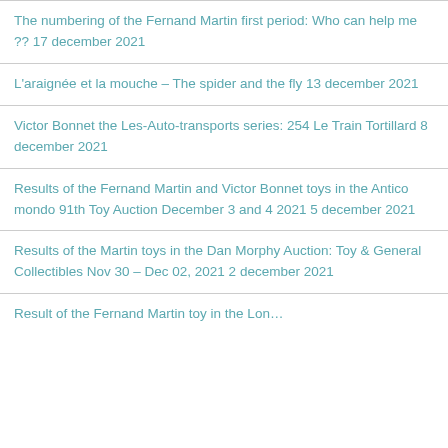The numbering of the Fernand Martin first period: Who can help me ?? 17 december 2021
L'araignée et la mouche – The spider and the fly 13 december 2021
Victor Bonnet the Les-Auto-transports series: 254 Le Train Tortillard 8 december 2021
Results of the Fernand Martin and Victor Bonnet toys in the Antico mondo 91th Toy Auction December 3 and 4 2021 5 december 2021
Results of the Martin toys in the Dan Morphy Auction: Toy & General Collectibles Nov 30 – Dec 02, 2021 2 december 2021
Result of the Fernand Martin toy in the London…